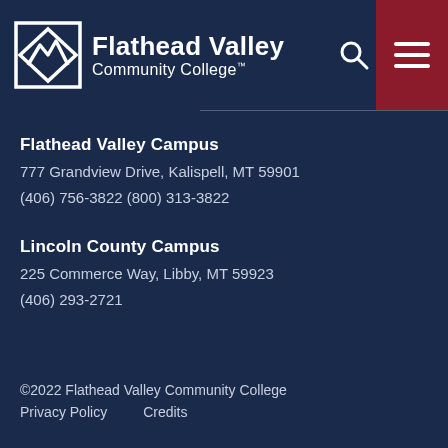Flathead Valley Community College — navigation header with logo, search, and menu
Flathead Valley Campus
777 Grandview Drive, Kalispell, MT 59901
(406) 756-3822  (800) 313-3822
Lincoln County Campus
225 Commerce Way, Libby, MT 59923
(406) 293-2721
©2022 Flathead Valley Community College
Privacy Policy    Credits